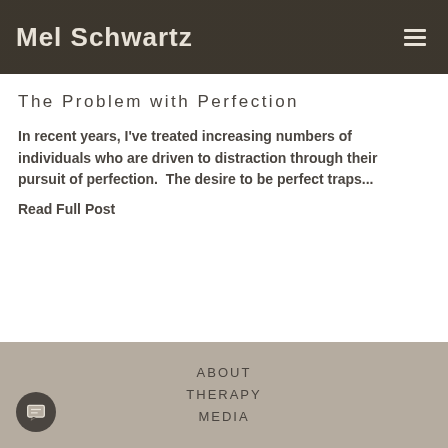Mel Schwartz
The Problem with Perfection
In recent years, I've treated increasing numbers of individuals who are driven to distraction through their pursuit of perfection.  The desire to be perfect traps...
Read Full Post
ABOUT
THERAPY
MEDIA